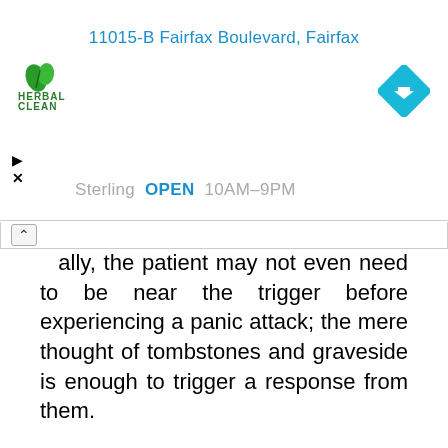[Figure (screenshot): Advertisement banner showing Herbal Clean logo, address '11015-B Fairfax Boulevard, Fairfax', navigation arrow diamond icon, play and close icons, and 'Sterling OPEN 10AM-9PM' text in cyan/blue color]
...ally, the patient may not even need to be near the trigger before experiencing a panic attack; the mere thought of tombstones and graveside is enough to trigger a response from them.
Some often think that panic attacks aren't a thing; however, sadly, they are.